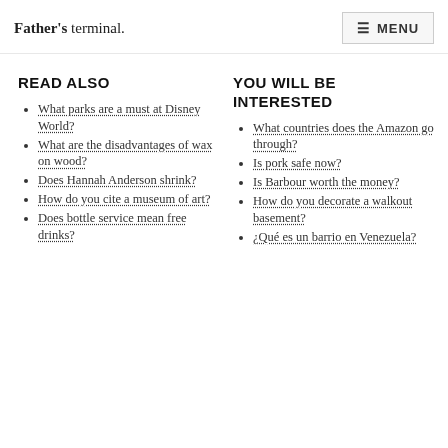Father's terminal.  MENU
READ ALSO
What parks are a must at Disney World?
What are the disadvantages of wax on wood?
Does Hannah Anderson shrink?
How do you cite a museum of art?
Does bottle service mean free drinks?
YOU WILL BE INTERESTED
What countries does the Amazon go through?
Is pork safe now?
Is Barbour worth the money?
How do you decorate a walkout basement?
¿Qué es un barrio en Venezuela?